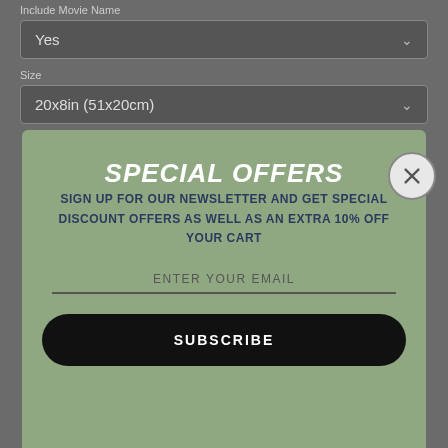Include Movie Name
Yes
Size
20x8in (51x20cm)
SPECIAL OFFERS
SIGN UP FOR OUR NEWSLETTER AND GET SPECIAL DISCOUNT OFFERS AS WELL AS AN EXTRA 10% OFF YOUR CART
ENTER YOUR EMAIL
SUBSCRIBE
[Figure (screenshot): YouTube video thumbnail showing 'CLASSIC' text with a YouTube play button, blue-tinted concert/people imagery in background]